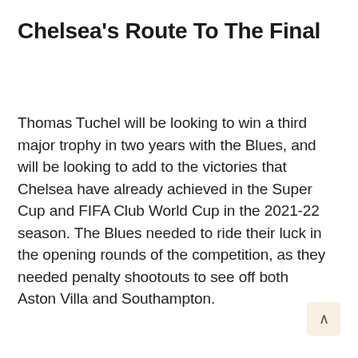Chelsea's Route To The Final
Thomas Tuchel will be looking to win a third major trophy in two years with the Blues, and will be looking to add to the victories that Chelsea have already achieved in the Super Cup and FIFA Club World Cup in the 2021-22 season. The Blues needed to ride their luck in the opening rounds of the competition, as they needed penalty shootouts to see off both Aston Villa and Southampton.